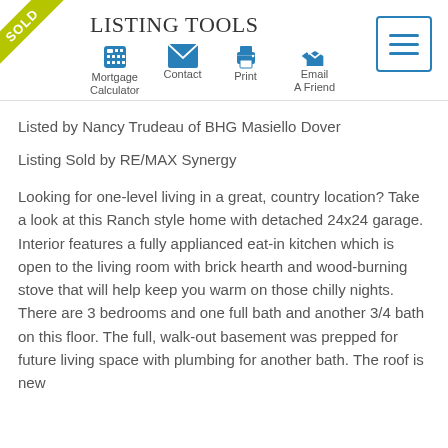Listing Tools
Listed by Nancy Trudeau of BHG Masiello Dover
Listing Sold by RE/MAX Synergy
Looking for one-level living in a great, country location? Take a look at this Ranch style home with detached 24x24 garage. Interior features a fully applianced eat-in kitchen which is open to the living room with brick hearth and wood-burning stove that will help keep you warm on those chilly nights. There are 3 bedrooms and one full bath and another 3/4 bath on this floor. The full, walk-out basement was prepped for future living space with plumbing for another bath. The roof is new